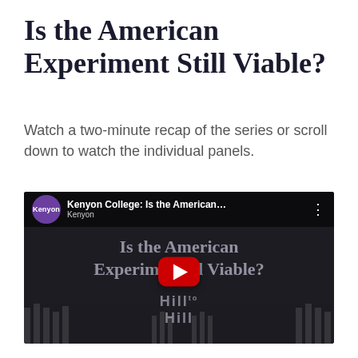Is the American Experiment Still Viable?
Watch a two-minute recap of the series or scroll down to watch the individual panels.
[Figure (screenshot): Embedded YouTube video thumbnail showing 'Kenyon College: Is the American...' with Kenyon logo, YouTube play button, and overlay text reading 'Is the American Experiment Still Viable? Hill to Hill']